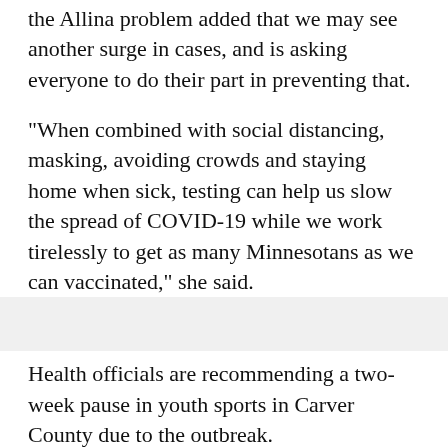the Allina problem added that we may see another surge in cases, and is asking everyone to do their part in preventing that.
"When combined with social distancing, masking, avoiding crowds and staying home when sick, testing can help us slow the spread of COVID-19 while we work tirelessly to get as many Minnesotans as we can vaccinated," she said.
Health officials are recommending a two-week pause in youth sports in Carver County due to the outbreak.
Since late January, the Minnesota Department of Health has detected at least 84 COVID-19 cases linked